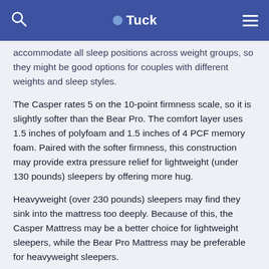Tuck
accommodate all sleep positions across weight groups, so they might be good options for couples with different weights and sleep styles.
The Casper rates 5 on the 10-point firmness scale, so it is slightly softer than the Bear Pro. The comfort layer uses 1.5 inches of polyfoam and 1.5 inches of 4 PCF memory foam. Paired with the softer firmness, this construction may provide extra pressure relief for lightweight (under 130 pounds) sleepers by offering more hug.
Heavyweight (over 230 pounds) sleepers may find they sink into the mattress too deeply. Because of this, the Casper Mattress may be a better choice for lightweight sleepers, while the Bear Pro Mattress may be preferable for heavyweight sleepers.
The Bear Pro and the Casper come in at a similar price